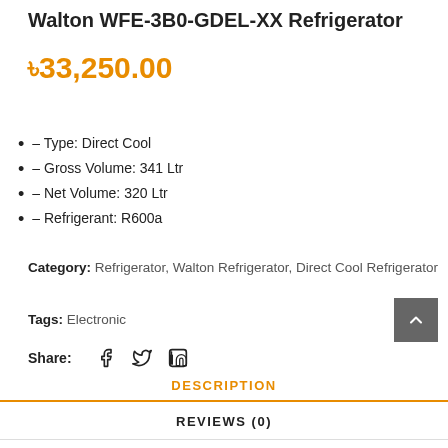Walton WFE-3B0-GDEL-XX Refrigerator
৳33,250.00
- Type: Direct Cool
- Gross Volume: 341 Ltr
- Net Volume: 320 Ltr
- Refrigerant: R600a
Category: Refrigerator, Walton Refrigerator, Direct Cool Refrigerator
Tags: Electronic
Share:
DESCRIPTION
REVIEWS (0)